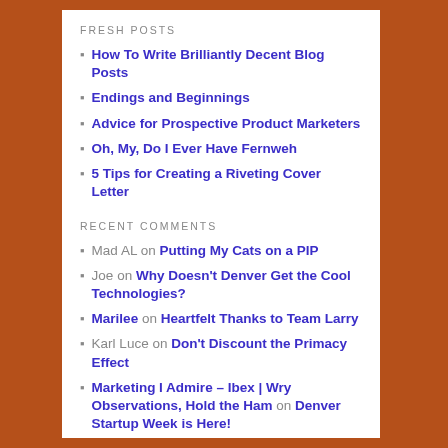FRESH POSTS
How To Write Brilliantly Decent Blog Posts
Endings and Beginnings
Advice for Prospective Product Marketers
Oh, My, Do I Ever Have Fernweh
5 Tips for Creating a Riveting Cover Letter
RECENT COMMENTS
Mad AL on Putting My Cats on a PIP
Joe on Why Doesn't Denver Get the Cool Technologies?
Marilee on Heartfelt Thanks to Team Larry
Karl Luce on Don't Discount the Primacy Effect
Marketing I Admire – Ibex | Wry Observations, Hold the Ham on Denver Startup Week is Here!
OLDIES BUT GOODIES
May 2019
March 2019